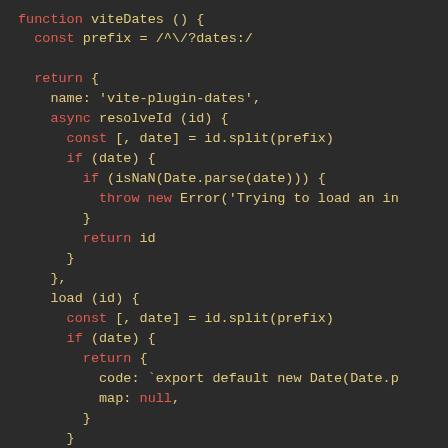[Figure (screenshot): Dark-themed code editor screenshot showing JavaScript code for a 'viteDates' function with syntax highlighting: red for keywords, yellow/orange for identifiers and strings.]